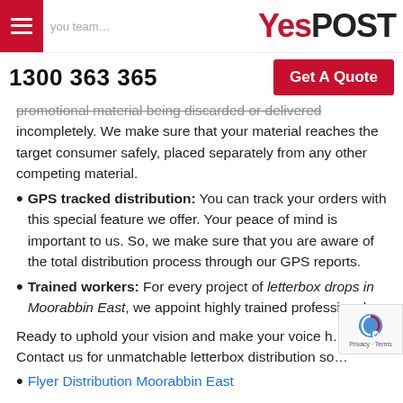YesPOST — you team … you the …ing:
1300 363 365
Get A Quote
promotional material being discarded or delivered incompletely. We make sure that your material reaches the target consumer safely, placed separately from any other competing material.
GPS tracked distribution: You can track your orders with this special feature we offer. Your peace of mind is important to us. So, we make sure that you are aware of the total distribution process through our GPS reports.
Trained workers: For every project of letterbox drops in Moorabbin East, we appoint highly trained professionals.
Ready to uphold your vision and make your voice h… Contact us for unmatchable letterbox distribution so…
Flyer Distribution Moorabbin East